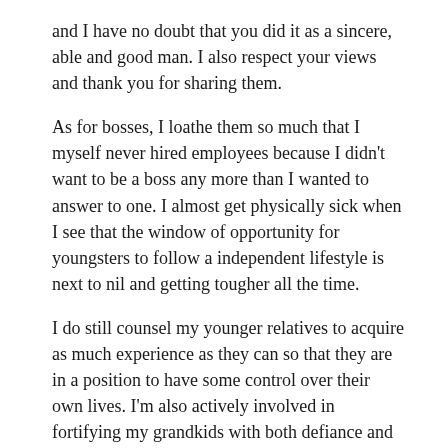and I have no doubt that you did it as a sincere, able and good man. I also respect your views and thank you for sharing them.
As for bosses, I loathe them so much that I myself never hired employees because I didn't want to be a boss any more than I wanted to answer to one. I almost get physically sick when I see that the window of opportunity for youngsters to follow a independent lifestyle is next to nil and getting tougher all the time.
I do still counsel my younger relatives to acquire as much experience as they can so that they are in a position to have some control over their own lives. I'm also actively involved in fortifying my grandkids with both defiance and the attitudes and skills to back it up.
Is that attitude Utopian? No doubt to some degree it is, but so is the attitude of submission, i.e., the wish for everything to be taken care of so long as one submits.